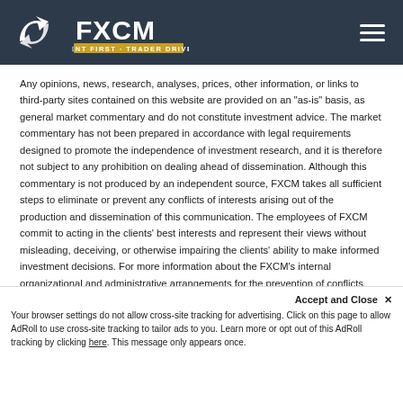FXCM - CLIENT FIRST · TRADER DRIVEN
Any opinions, news, research, analyses, prices, other information, or links to third-party sites contained on this website are provided on an "as-is" basis, as general market commentary and do not constitute investment advice. The market commentary has not been prepared in accordance with legal requirements designed to promote the independence of investment research, and it is therefore not subject to any prohibition on dealing ahead of dissemination. Although this commentary is not produced by an independent source, FXCM takes all sufficient steps to eliminate or prevent any conflicts of interests arising out of the production and dissemination of this communication. The employees of FXCM commit to acting in the clients' best interests and represent their views without misleading, deceiving, or otherwise impairing the clients' ability to make informed investment decisions. For more information about the FXCM's internal organizational and administrative arrangements for the prevention of conflicts, please refer to the Firms' Managing Conflicts Policy. Please ensure that you read and understand our Full Disclaimer and Liability provision concerning the fo...
Accept and Close ✕ Your browser settings do not allow cross-site tracking for advertising. Click on this page to allow AdRoll to use cross-site tracking to tailor ads to you. Learn more or opt out of this AdRoll tracking by clicking here. This message only appears once.